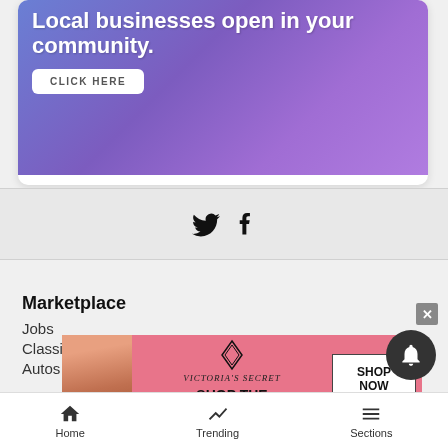[Figure (illustration): Advertisement banner with purple-blue gradient background showing text 'Local businesses open in your community.' with a white CLICK HERE button]
[Figure (illustration): Twitter and Facebook social media icons displayed in a row]
Marketplace
Jobs
Classifieds
Autos
[Figure (illustration): Victoria's Secret advertisement banner with model, VS logo, 'SHOP THE COLLECTION' text and 'SHOP NOW' button]
Home   Trending   Sections